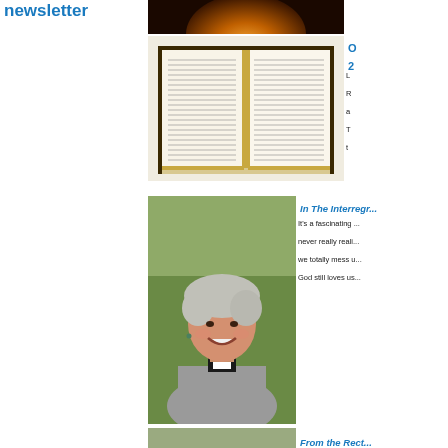newsletter
[Figure (photo): Top portion of a glowing orange/amber orb or candle against dark background]
[Figure (photo): Open Bible with gold-edged pages showing dense text columns]
O 2
L... R... a... T... t...
[Figure (photo): Smiling older woman with grey hair wearing clerical collar and grey jacket, outdoors with green background]
In The Interregn...
It's a fascinating ... never really reali... we totally mess u... God still loves us...
[Figure (photo): Bottom partial image strip]
From the Rect...